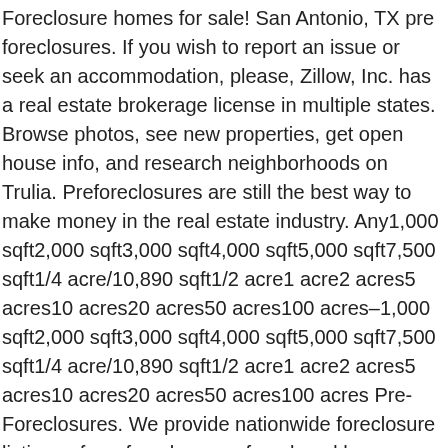Foreclosure homes for sale! San Antonio, TX pre foreclosures. If you wish to report an issue or seek an accommodation, please, Zillow, Inc. has a real estate brokerage license in multiple states. Browse photos, see new properties, get open house info, and research neighborhoods on Trulia. Preforeclosures are still the best way to make money in the real estate industry. Any1,000 sqft2,000 sqft3,000 sqft4,000 sqft5,000 sqft7,500 sqft1/4 acre/10,890 sqft1/2 acre1 acre2 acres5 acres10 acres20 acres50 acres100 acres–1,000 sqft2,000 sqft3,000 sqft4,000 sqft5,000 sqft7,500 sqft1/4 acre/10,890 sqft1/2 acre1 acre2 acres5 acres10 acres20 acres50 acres100 acres Pre-Foreclosures. We provide nationwide foreclosure listings of pre foreclosures, foreclosed homes , short sales, bank owned homes and sheriff sales. Any1+1.5+2+3+4+ Mortgage Calculator. Zillow Owned We're quickly expanding into new markets. Rent vs Buy Calculator. No HOA Fee The homeowner of this property has missed at least one payment and is now considered delinquent. Browse photos, see new properties, get